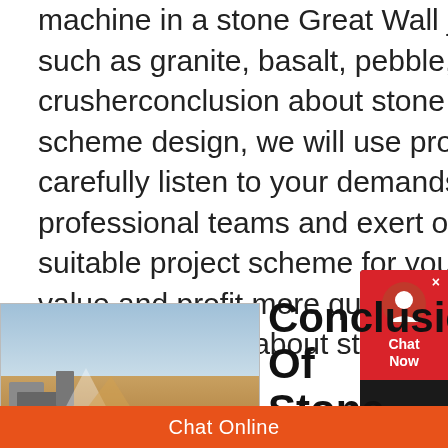machine in a stone Great Wall jaw crusher can crush stones and rocks such as granite, basalt, pebble, marble, Greatconclusion of stone crusherconclusion about stone crusher machine For each project scheme design, we will use professional knowledge to help you, carefully listen to your demands, respect your opinions, and use our professional teams and exert our greatest efforts to create a more suitable project scheme for you and realize the project investment value and profit more quickly Cone crusher Cone crusher is widely usedconclusion about stone crusher machine
[Figure (photo): Outdoor photo of stone crusher machinery at a mining site with sky and flat terrain; MineVik logo watermark overlay]
Conclusion Of Stone Crusher
Chat Online